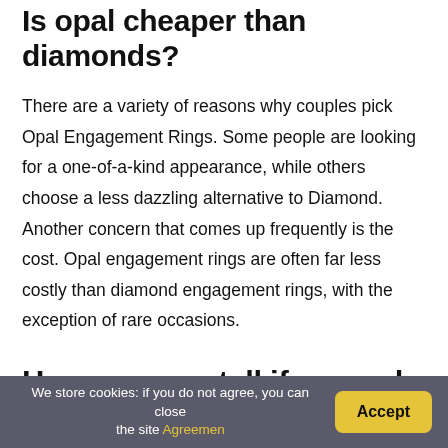Is opal cheaper than diamonds?
There are a variety of reasons why couples pick Opal Engagement Rings. Some people are looking for a one-of-a-kind appearance, while others choose a less dazzling alternative to Diamond. Another concern that comes up frequently is the cost. Opal engagement rings are often far less costly than diamond engagement rings, with the exception of rare occasions.
How can you tell if an opal is real?
We store cookies: if you do not agree, you can close the site Agreemen